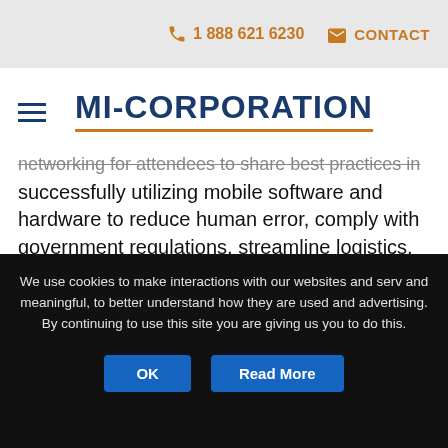1 888 621 6230  CONTACT
MI-CORPORATION
networking for attendees to share best practices in successfully utilizing mobile software and hardware to reduce human error, comply with government regulations, streamline logistics, and increase productivity and efficiency.
“We had incredibly substantive presentations as well as meaningful collaboration between attendees
We use cookies to make interactions with our websites and serv and meaningful, to better understand how they are used and advertising. By continuing to use this site you are giving us you to do this.
OK
Read More